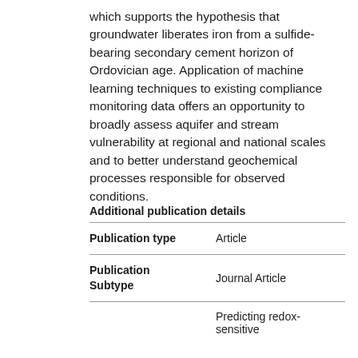which supports the hypothesis that groundwater liberates iron from a sulfide-bearing secondary cement horizon of Ordovician age. Application of machine learning techniques to existing compliance monitoring data offers an opportunity to broadly assess aquifer and stream vulnerability at regional and national scales and to better understand geochemical processes responsible for observed conditions.
Additional publication details
|  |  |
| --- | --- |
| Publication type | Article |
| Publication Subtype | Journal Article |
|  | Predicting redox-sensitive |